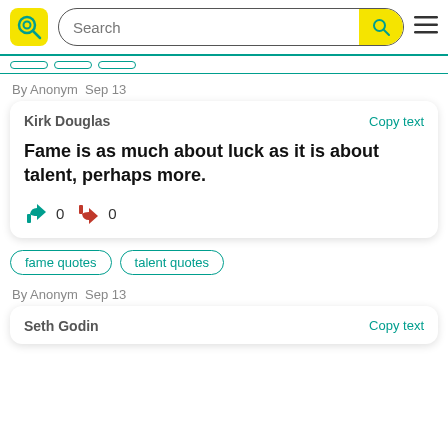Search bar with logo and hamburger menu
By Anonym  Sep 13
Kirk Douglas — Copy text
Fame is as much about luck as it is about talent, perhaps more.
👍 0  👎 0
fame quotes
talent quotes
By Anonym  Sep 13
Seth Godin — Copy text